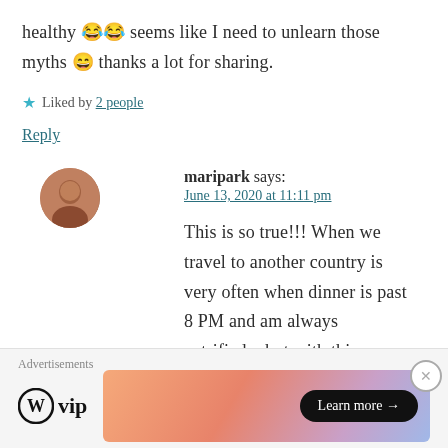healthy 😂😂 seems like I need to unlearn those myths 😄 thanks a lot for sharing.
★ Liked by 2 people
Reply
maripark says: June 13, 2020 at 11:11 pm
This is so true!!! When we travel to another country is very often when dinner is past 8 PM and am always petrified... but with this new
Advertisements
[Figure (logo): WordPress VIP logo with circular W icon and 'vip' text]
[Figure (infographic): Advertisement banner with gradient background (orange to purple) and 'Learn more →' button]